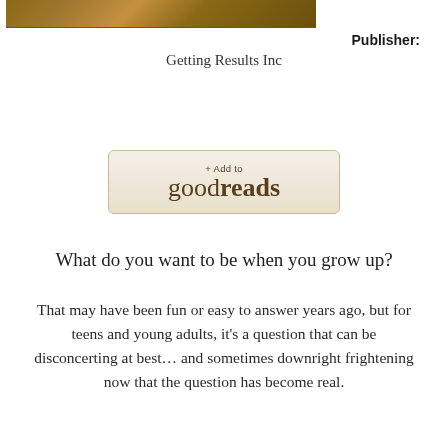[Figure (photo): Partial view of a book cover with brown/tan illustrated artwork at the top of the page]
Publisher:
Getting Results Inc
[Figure (logo): + Add to goodreads button with beige/tan background and brown text]
What do you want to be when you grow up?
That may have been fun or easy to answer years ago, but for teens and young adults, it's a question that can be disconcerting at best… and sometimes downright frightening now that the question has become real.